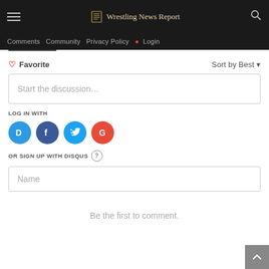Wrestling News Report
Comments  Community  Privacy Policy  Login
♡ Favorite    Sort by Best ▾
Start the discussion...
LOG IN WITH
[Figure (other): Social login icons: Disqus (D), Facebook (f), Twitter bird, Google (G)]
OR SIGN UP WITH DISQUS (?)
Name
Be the first to comment.